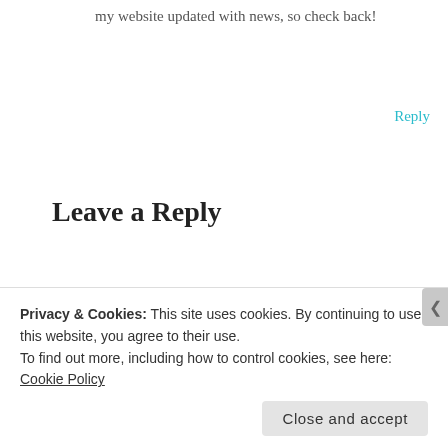my website updated with news, so check back!
Reply
Leave a Reply
Your email address will not be published. Required fields are marked *
Comment *
Privacy & Cookies: This site uses cookies. By continuing to use this website, you agree to their use.
To find out more, including how to control cookies, see here: Cookie Policy
Close and accept